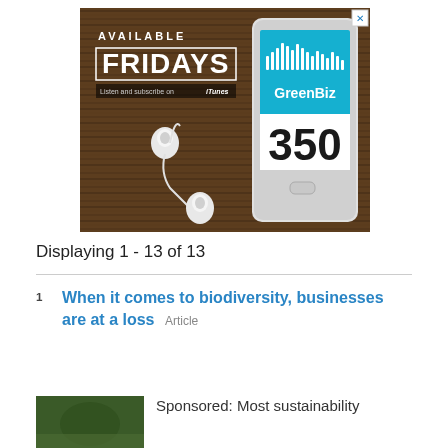[Figure (illustration): Advertisement banner for GreenBiz 350 podcast. Shows earbuds on a wooden background on the left with text 'AVAILABLE FRIDAYS' and 'Listen and subscribe on iTunes'. On the right is a smartphone with GreenBiz 350 logo on the screen. A close button (X) appears in the top-right corner.]
Displaying 1 - 13 of 13
1  When it comes to biodiversity, businesses are at a loss  Article
Sponsored: Most sustainability